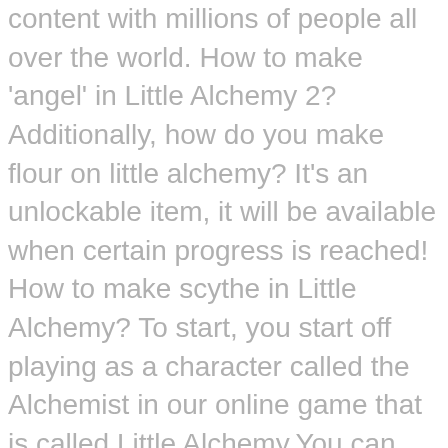content with millions of people all over the world. How to make 'angel' in Little Alchemy 2? Additionally, how do you make flour on little alchemy? It's an unlockable item, it will be available when certain progress is reached! How to make scythe in Little Alchemy? To start, you start off playing as a character called the Alchemist in our online game that is called Little Alchemy.You can create and equip items for yourself using Alchemy equipment, and you can also make your own. To create this article, 29 people, some anonymous, worked to edit and improve it over time. Ankh Little Alchemy 2 Cheats. It allows you to catalog your thoughts and make connections between the way you think and the way you behave. The first 4 steps involve breaking down your sense of self to become more aware of your unconscious mind. The different formulas are all interlinked. It is not used often, but the process of making Chocolate is complicated. However, good news is that this element is not an element that is so difficult create. air + air = pressure. Amid the current public health and economic crises, when the world is shifting dramatically and we are all learning